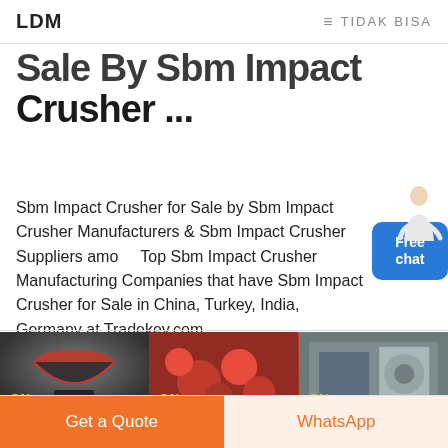LDM   ≡ TIDAK BISA
Sale By Sbm Impact Crusher ...
Sbm Impact Crusher for Sale by Sbm Impact Crusher Manufacturers & Sbm Impact Crusher Suppliers among Top Sbm Impact Crusher Manufacturing Companies that have Sbm Impact Crusher for Sale in China, Turkey, India, Germany at Tradekey.com
[Figure (photo): Three product photos of industrial crushers side by side, each labeled CN, showing a cone crusher, red pipe fittings/parts, and a metal crusher machine]
Get a Quote
WhatsApp